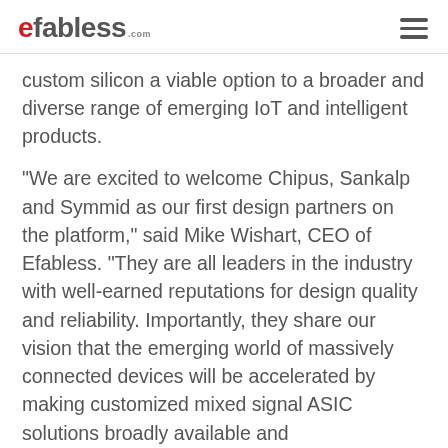efabless.com
custom silicon a viable option to a broader and diverse range of emerging IoT and intelligent products.
“We are excited to welcome Chipus, Sankalp and Symmid as our first design partners on the platform,” said Mike Wishart, CEO of Efabless. “They are all leaders in the industry with well-earned reputations for design quality and reliability. Importantly, they share our vision that the emerging world of massively connected devices will be accelerated by making customized mixed signal ASIC solutions broadly available and